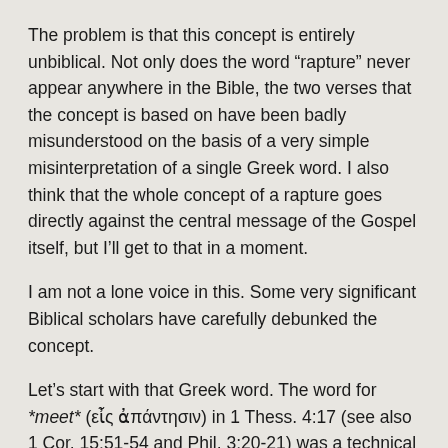The problem is that this concept is entirely unbiblical. Not only does the word “rapture” never appear anywhere in the Bible, the two verses that the concept is based on have been badly misunderstood on the basis of a very simple misinterpretation of a single Greek word. I also think that the whole concept of a rapture goes directly against the central message of the Gospel itself, but I’ll get to that in a moment.
I am not a lone voice in this. Some very significant Biblical scholars have carefully debunked the concept.
Let’s start with that Greek word. The word for *meet* (εἶς ἀπάντησιν) in 1 Thess. 4:17 (see also 1 Cor. 15:51-54 and Phil. 3:20-21) was a technical term that described the custom of sending a delegation outside the city to receive a dignitary who was on the way to